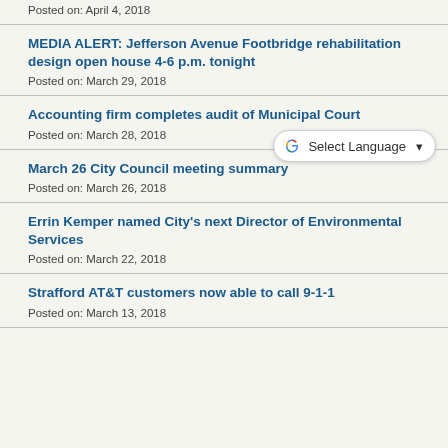Posted on: April 4, 2018
MEDIA ALERT: Jefferson Avenue Footbridge rehabilitation design open house 4-6 p.m. tonight
Posted on: March 29, 2018
Accounting firm completes audit of Municipal Court
Posted on: March 28, 2018
March 26 City Council meeting summary
Posted on: March 26, 2018
Errin Kemper named City's next Director of Environmental Services
Posted on: March 22, 2018
Strafford AT&T customers now able to call 9-1-1
Posted on: March 13, 2018